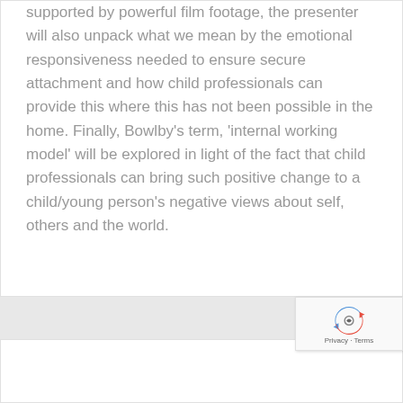supported by powerful film footage, the presenter will also unpack what we mean by the emotional responsiveness needed to ensure secure attachment and how child professionals can provide this where this has not been possible in the home. Finally, Bowlby's term, 'internal working model' will be explored in light of the fact that child professionals can bring such positive change to a child/young person's negative views about self, others and the world.
[Figure (other): reCAPTCHA badge with recycling arrow logo and Privacy - Terms text]
Please click on the play button below to purchase